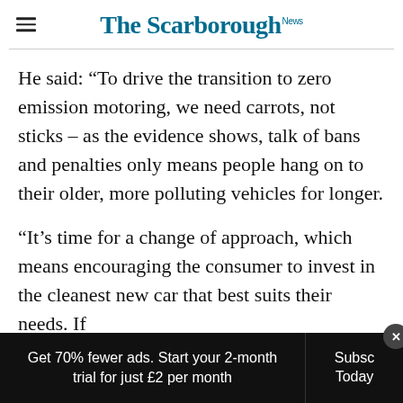The Scarborough News
He said: “To drive the transition to zero emission motoring, we need carrots, not sticks – as the evidence shows, talk of bans and penalties only means people hang on to their older, more polluting vehicles for longer.
“It’s time for a change of approach, which means encouraging the consumer to invest in the cleanest new car that best suits their needs. If
Get 70% fewer ads. Start your 2-month trial for just £2 per month   Subscribe Today